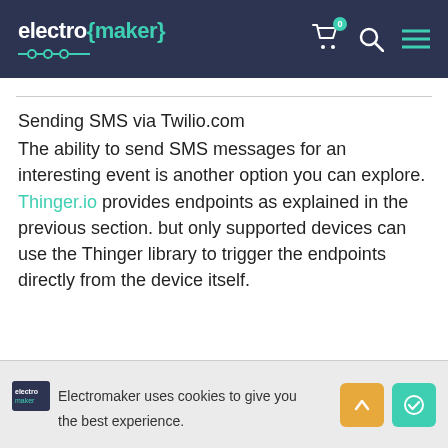electro {maker}
Sending SMS via Twilio.com
The ability to send SMS messages for an interesting event is another option you can explore. Thinger.io provides endpoints as explained in the previous section. but only supported devices can use the Thinger library to trigger the endpoints directly from the device itself.
Electromaker uses cookies to give you the best experience.